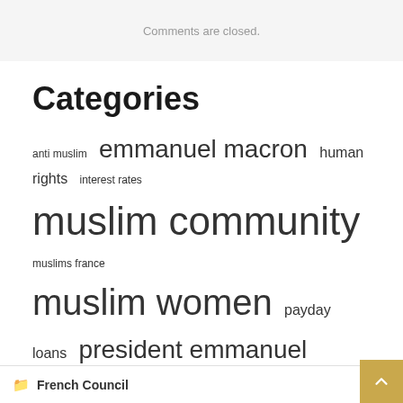Comments are closed.
Categories
anti muslim  emmanuel macron  human rights  interest rates  muslim community  muslims france  muslim women  payday loans  president emmanuel  prime minister  religious symbols  united states  wear hijab  wearing hijab  women wearing
French Council